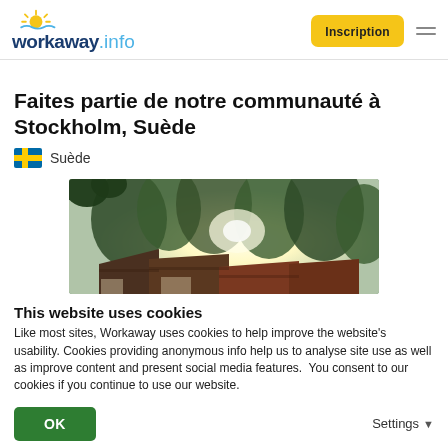workaway.info — Inscription
Faites partie de notre communauté à Stockholm, Suède
Suède
[Figure (photo): Outdoor scene with trees backlit by sunlight and rooftops of rustic buildings visible below]
This website uses cookies
Like most sites, Workaway uses cookies to help improve the website's usability. Cookies providing anonymous info help us to analyse site use as well as improve content and present social media features.  You consent to our cookies if you continue to use our website.
OK   Settings